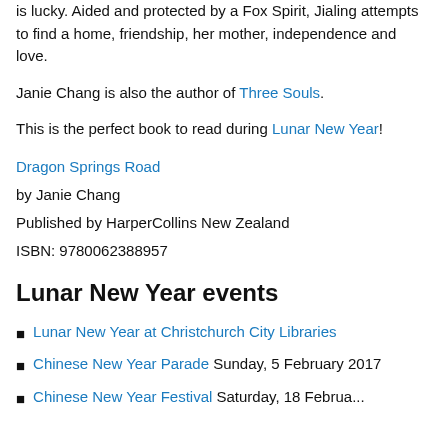is lucky. Aided and protected by a Fox Spirit, Jialing attempts to find a home, friendship, her mother, independence and love.
Janie Chang is also the author of Three Souls.
This is the perfect book to read during Lunar New Year!
Dragon Springs Road
by Janie Chang
Published by HarperCollins New Zealand
ISBN: 9780062388957
Lunar New Year events
Lunar New Year at Christchurch City Libraries
Chinese New Year Parade Sunday, 5 February 2017
Chinese New Year Festival Saturday, 18 February...